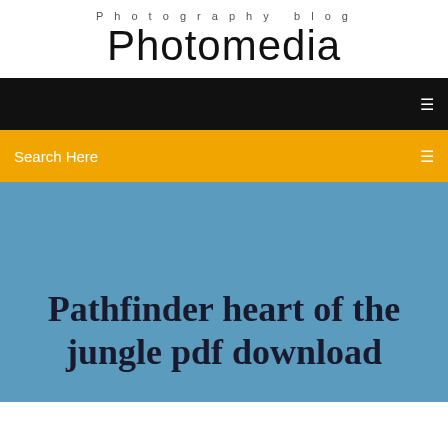Photography blog
Photomedia
Search Here
Pathfinder heart of the jungle pdf download